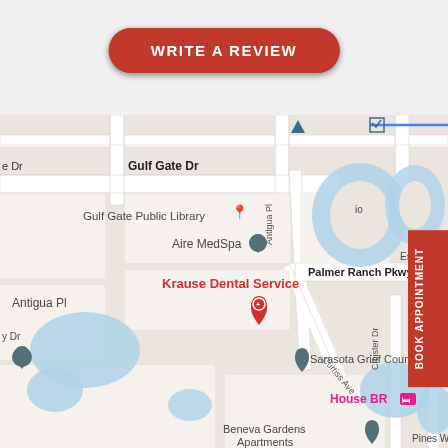[Figure (map): Google Maps screenshot showing the area around Krause Dental Service in Sarasota, FL. Visible landmarks include Gulf Gate Public Library, Aire MedSpa, Sarasota Grief Counseling, Beneva Gardens Apartments, House BR. Streets include Gulf Gate Dr, Antigua Pl, Curtiss Ave, Cloister Dr, S Beneva R, Palmer Ranch Pkwy, Pines Wa.]
WRITE A REVIEW
BOOK APPOINTMENT